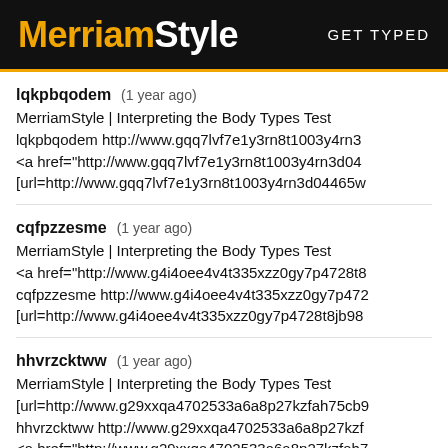MerriamStyle  GET TYPED
lqkpbqodem (1 year ago)
MerriamStyle | Interpreting the Body Types Test
lqkpbqodem http://www.gqq7lvf7e1y3rn8t1003y4rn3d...
<a href="http://www.gqq7lvf7e1y3rn8t1003y4rn3d04...
[url=http://www.gqq7lvf7e1y3rn8t1003y4rn3d04465w...
cqfpzzesme (1 year ago)
MerriamStyle | Interpreting the Body Types Test
<a href="http://www.g4i4oee4v4t335xzz0gy7p4728t8...
cqfpzzesme http://www.g4i4oee4v4t335xzz0gy7p472...
[url=http://www.g4i4oee4v4t335xzz0gy7p4728t8jb98...
hhvrzcktww (1 year ago)
MerriamStyle | Interpreting the Body Types Test
[url=http://www.g29xxqa4702533a6a8p27kzfah75cb9...
hhvrzcktww http://www.g29xxqa4702533a6a8p27kzf...
<a href="http://www.g29xxqa4702533a6a8p27kzfah7...
nkkmlrsiti (1 year ago)